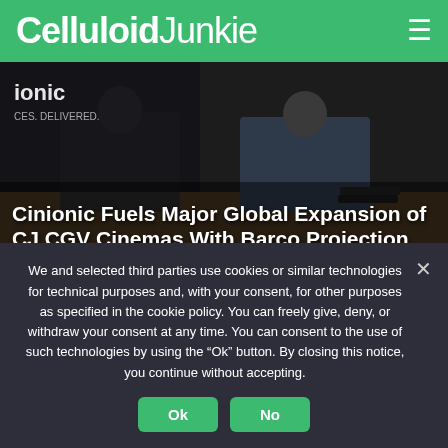Celluloid Junkie
[Figure (photo): Two people at a table signing documents at what appears to be a conference or press event, with a 'Cinionic' branded backdrop visible.]
Cinionic Fuels Major Global Expansion of CJ CGV Cinemas With Barco Projection
ZWAAG, THE NETHERLANDS (NOVEMBER 17, 2020)
We and selected third parties use cookies or similar technologies for technical purposes and, with your consent, for other purposes as specified in the cookie policy. You can freely give, deny, or withdraw your consent at any time. You can consent to the use of such technologies by using the “Ok” button. By closing this notice, you continue without accepting.